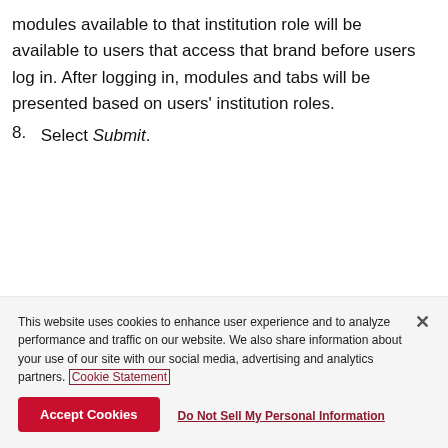modules available to that institution role will be available to users that access that brand before users log in. After logging in, modules and tabs will be presented based on users' institution roles.
8. Select Submit.
This website uses cookies to enhance user experience and to analyze performance and traffic on our website. We also share information about your use of our site with our social media, advertising and analytics partners. Cookie Statement
Accept Cookies
Do Not Sell My Personal Information